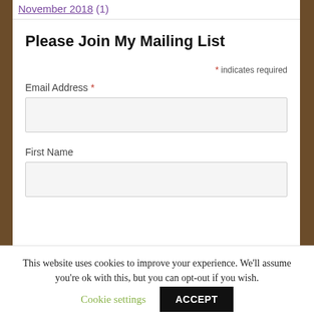November 2018 (1)
Please Join My Mailing List
* indicates required
Email Address *
First Name
This website uses cookies to improve your experience. We'll assume you're ok with this, but you can opt-out if you wish.
Cookie settings
ACCEPT